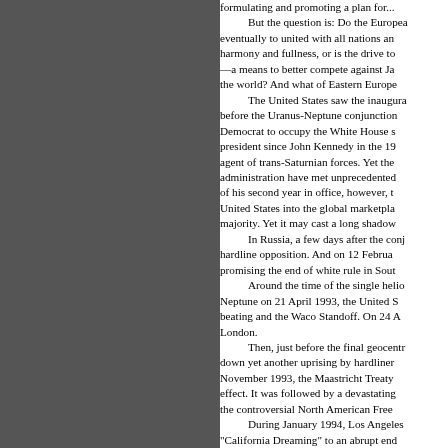formulating and promoting a plan for... But the question is: Do the Europeans eventually to united with all nations and harmony and fullness, or is the drive to —a means to better compete against Japan the world? And what of Eastern Europe... The United States saw the inaugura before the Uranus-Neptune conjunction Democrat to occupy the White House since president since John Kennedy in the 19 agent of trans-Saturnian forces. Yet the administration have met unprecedented of his second year in office, however, t United States into the global marketplace majority. Yet it may cast a long shadow... In Russia, a few days after the conj hardline opposition. And on 12 February promising the end of white rule in Sout... Around the time of the single helio Neptune on 21 April 1993, the United S beating and the Waco Standoff. On 24 A London. Then, just before the final geocentr down yet another uprising by hardliner November 1993, the Maastricht Treaty effect. It was followed by a devastating the controversial North American Free During January 1994, Los Angeles "California Dreaming" to an abrupt end